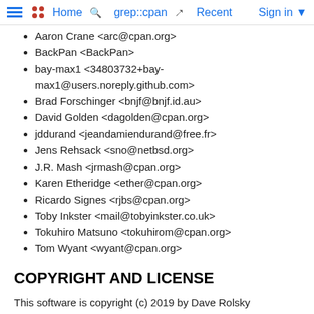Home  grep::cpan  Recent  Sign in
Aaron Crane <arc@cpan.org>
BackPan <BackPan>
bay-max1 <34803732+bay-max1@users.noreply.github.com>
Brad Forschinger <bnjf@bnjf.id.au>
David Golden <dagolden@cpan.org>
jddurand <jeandamiendurand@free.fr>
Jens Rehsack <sno@netbsd.org>
J.R. Mash <jrmash@cpan.org>
Karen Etheridge <ether@cpan.org>
Ricardo Signes <rjbs@cpan.org>
Toby Inkster <mail@tobyinkster.co.uk>
Tokuhiro Matsuno <tokuhirom@cpan.org>
Tom Wyant <wyant@cpan.org>
COPYRIGHT AND LICENSE
This software is copyright (c) 2019 by Dave Rolsky